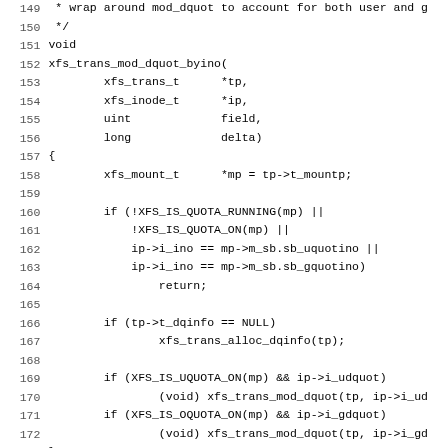Source code listing lines 149-181, C function xfs_trans_mod_dquot_byino and beginning of xfs_trans_get_dqtrx